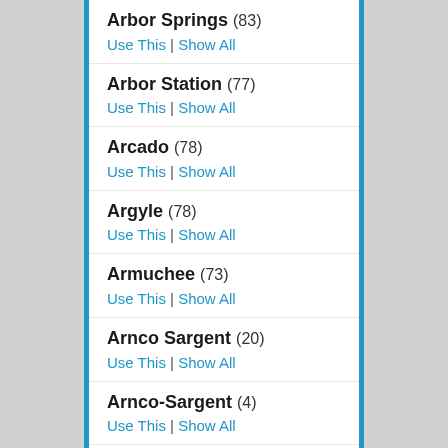Arbor Springs (83) Use This | Show All
Arbor Station (77) Use This | Show All
Arcado (78) Use This | Show All
Argyle (78) Use This | Show All
Armuchee (73) Use This | Show All
Arnco Sargent (20) Use This | Show All
Arnco-Sargent (4) Use This | Show All
Arnold (52) Use This | Show All
Arnold Mill (142)